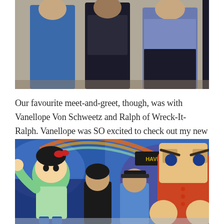[Figure (photo): Top portion of a photo showing three people posing together. Person on left in blue jacket, person in middle in black outfit, person on right in purple/blue floral top.]
Our favourite meet-and-greet, though, was with Vanellope Von Schweetz and Ralph of Wreck-It-Ralph. Vanellope was SO excited to check out my new Wreck-It-Ralph ears, and Ralph was just excited when my husband commented that he looked as though he had lost a few hundred pounds. 🙂
[Figure (photo): Photo of two people posing with Vanellope Von Schweetz and Ralph (Wreck-It Ralph) Disney character meet and greet costumes in front of a colorful Wreck-It Ralph themed backdrop.]